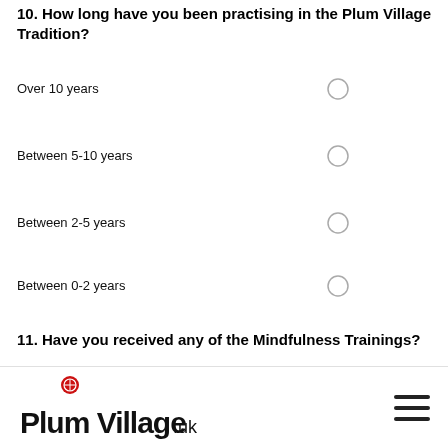10. How long have you been practising in the Plum Village Tradition?
Over 10 years
Between 5-10 years
Between 2-5 years
Between 0-2 years
11. Have you received any of the Mindfulness Trainings?
[Figure (logo): Plum Village UK logo with red circular dharma wheel icon and handwritten-style text reading 'Plum Village .uk']
[Figure (other): Hamburger menu icon with three horizontal black lines]